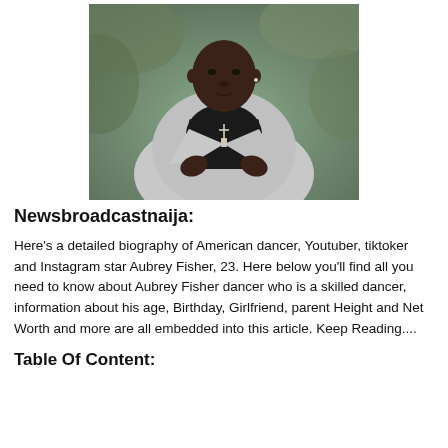[Figure (photo): A young Black man wearing a grey blazer over a black turtleneck with a cross necklace, photographed outdoors.]
Newsbroadcastnaija:
Here's a detailed biography of American dancer, Youtuber, tiktoker and Instagram star Aubrey Fisher, 23. Here below you'll find all you need to know about Aubrey Fisher dancer who is a skilled dancer, information about his age, Birthday, Girlfriend, parent Height and Net Worth and more are all embedded into this article. Keep Reading....
Table Of Content: